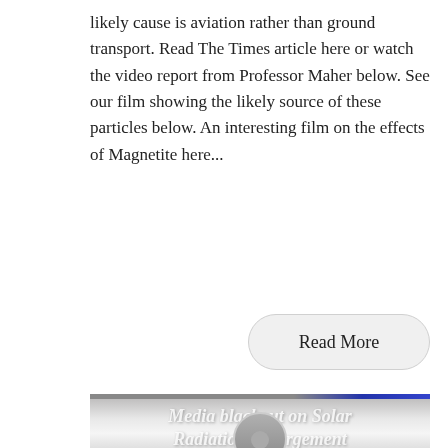likely cause is aviation rather than ground transport. Read The Times article here or watch the video report from Professor Maher below. See our film showing the likely source of these particles below. An interesting film on the effects of Magnetite here...
Read More
[Figure (screenshot): Video thumbnail showing 'Media blackout on Solar Radiation Management' with a user avatar/profile icon overlay and partial text attribution at bottom]